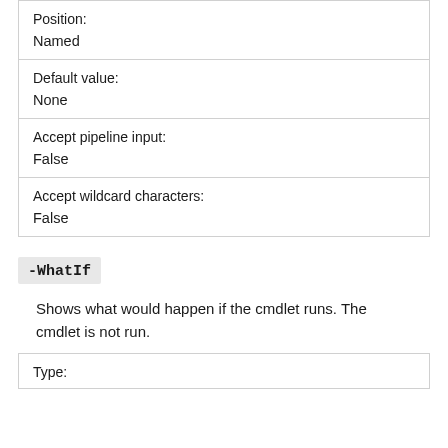| Position: | Named |
| Default value: | None |
| Accept pipeline input: | False |
| Accept wildcard characters: | False |
-WhatIf
Shows what would happen if the cmdlet runs. The cmdlet is not run.
| Type: |  |